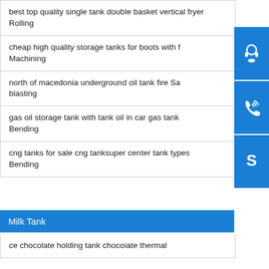best top quality single tank double basket vertical fryer Rolling
cheap high quality storage tanks for boots with f Machining
north of macedonia underground oil tank fire Sa blasting
gas oil storage tank with tank oil in car gas tank Bending
cng tanks for sale cng tanksuper center tank types Bending
Milk Tank
ce chocolate holding tank chocoiate thermal